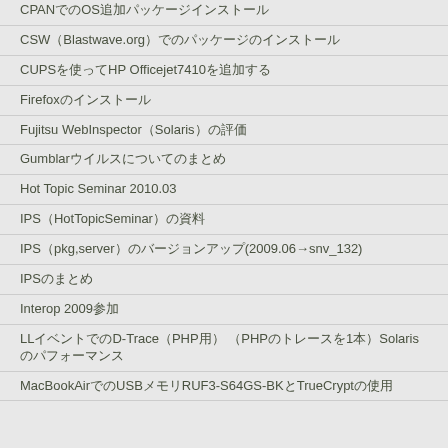CPANでのOS追加パッケージインストール
CSW（Blastwave.org）でのパッケージのインストール
CUPSを使ってHP Officejet7410を追加する
Firefoxのインストール
Fujitsu WebInspector（Solaris）の評価
Gumblarウイルスについてのまとめ
Hot Topic Seminar 2010.03
IPS（HotTopicSeminar）の資料
IPS（pkg,server）のバージョンアップ(2009.06→snv_132)
IPSのまとめ
Interop 2009参加
LLイベントでのD-Trace（PHP用） （PHPのトレースを1本）Solarisのパフォーマンス
MacBookAirでのUSBメモリRUF3-S64GS-BKとTrueCryptの使用